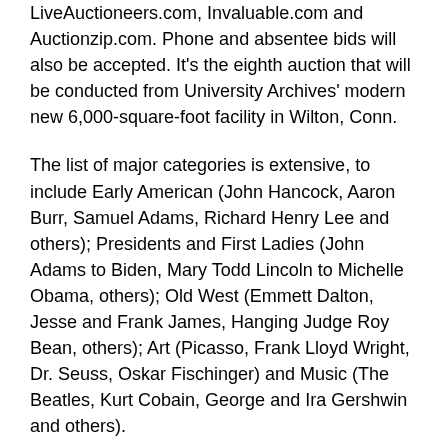LiveAuctioneers.com, Invaluable.com and Auctionzip.com. Phone and absentee bids will also be accepted. It's the eighth auction that will be conducted from University Archives' modern new 6,000-square-foot facility in Wilton, Conn.
The list of major categories is extensive, to include Early American (John Hancock, Aaron Burr, Samuel Adams, Richard Henry Lee and others); Presidents and First Ladies (John Adams to Biden, Mary Todd Lincoln to Michelle Obama, others); Old West (Emmett Dalton, Jesse and Frank James, Hanging Judge Roy Bean, others); Art (Picasso, Frank Lloyd Wright, Dr. Seuss, Oskar Fischinger) and Music (The Beatles, Kurt Cobain, George and Ira Gershwin and others).
Other categories include Entertainment, (Stan Laurel, Lenny Bruce, Hefner and others); Sports (Muhammad Ali, Mickey Mantle, Tiger Woods and others); Literature (Walt Whitman, Eugene O'Neill, E.E. Cummings and others); Civil Rights (Martin Luther King, Jr., Lucy Stone, Frederick Douglass and others); and Space / Aviation / Exploration